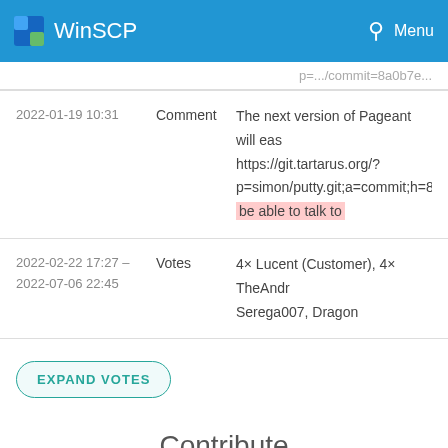WinSCP  Menu
...commit...
| Date | Type | Content |
| --- | --- | --- |
| 2022-01-19 10:31 | Comment | The next version of Pageant will eas https://git.tartarus.org/? p=simon/putty.git;a=commit;h=8a2 be able to talk to |
| 2022-02-22 17:27 – 2022-07-06 22:45 | Votes | 4× Lucent (Customer), 4× TheAndr Serega007, Dragon |
EXPAND VOTES
Contribute